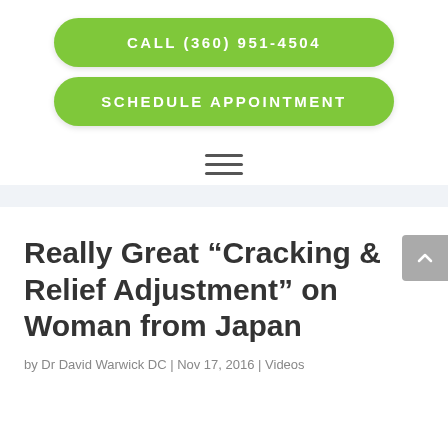CALL (360) 951-4504
SCHEDULE APPOINTMENT
[Figure (other): Hamburger menu icon with three horizontal lines]
Really Great “Cracking & Relief Adjustment” on Woman from Japan
by Dr David Warwick DC | Nov 17, 2016 | Videos